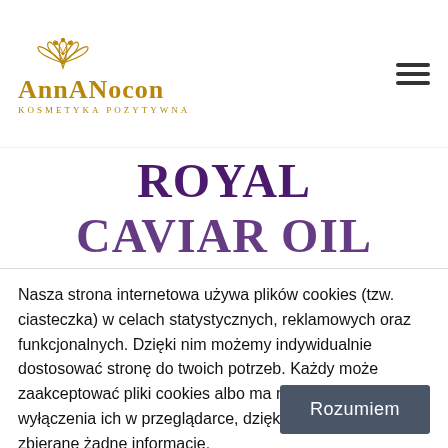[Figure (logo): AnnANocon Kosmetyka Pozytywna logo with golden lotus flower icon and stylized brand name]
MAXCLINIC ROYAL CAVIAR OIL FOAM
Nasza strona internetowa używa plików cookies (tzw. ciasteczka) w celach statystycznych, reklamowych oraz funkcjonalnych. Dzięki nim możemy indywidualnie dostosować stronę do twoich potrzeb. Każdy może zaakceptować pliki cookies albo ma możliwość wyłączenia ich w przeglądarce, dzięki czemu nie będą zbierane żadne informacje.
Rozumiem